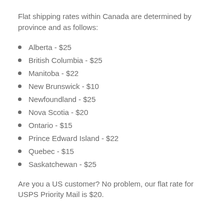Flat shipping rates within Canada are determined by province and as follows:
Alberta  - $25
British Columbia - $25
Manitoba - $22
New Brunswick - $10
Newfoundland - $25
Nova Scotia - $20
Ontario - $15
Prince Edward Island - $22
Quebec - $15
Saskatchewan - $25
Are you a US customer? No problem, our flat rate for USPS Priority Mail is $20.